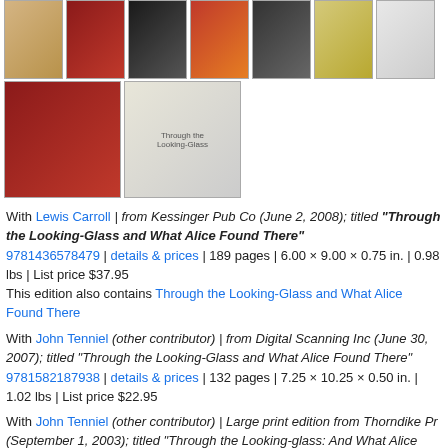[Figure (photo): Two rows of book cover thumbnails for various editions of 'Through the Looking-Glass and What Alice Found There']
With Lewis Carroll | from Kessinger Pub Co (June 2, 2008); titled "Through the Looking-Glass and What Alice Found There"
9781436578479 | details & prices | 189 pages | 6.00 x 9.00 x 0.75 in. | 0.98 lbs | List price $37.95
This edition also contains Through the Looking-Glass and What Alice Found There
With John Tenniel (other contributor) | from Digital Scanning Inc (June 30, 2007); titled "Through the Looking-Glass and What Alice Found There"
9781582187938 | details & prices | 132 pages | 7.25 x 10.25 x 0.50 in. | 1.02 lbs | List price $22.95
With John Tenniel (other contributor) | Large print edition from Thorndike Pr (September 1, 2003); titled "Through the Looking-glass: And What Alice Found There"
9780786256570 | details & prices | 201 pages | 5.75 x 8.75 x 0.75 in. | Rec. grade levels 4-6 | 0.75 lbs | List price $29.95